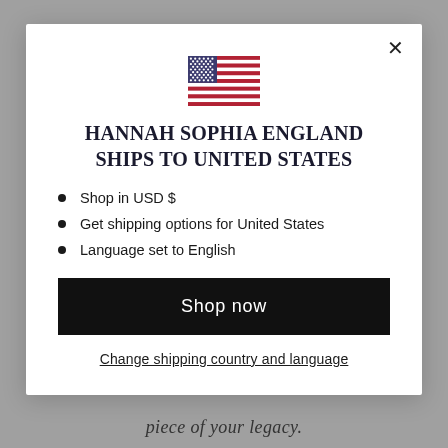[Figure (illustration): US flag SVG illustration centered at top of modal]
HANNAH SOPHIA ENGLAND SHIPS TO UNITED STATES
Shop in USD $
Get shipping options for United States
Language set to English
Shop now
Change shipping country and language